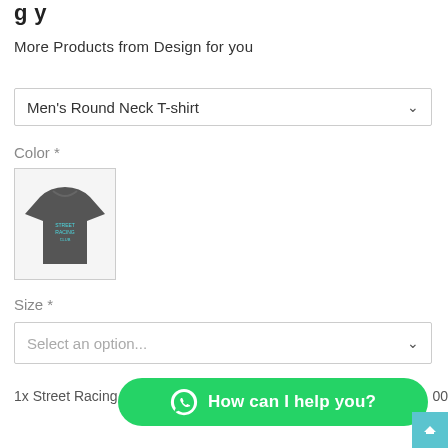g y
More Products from Design for you
Men's Round Neck T-shirt
Color *
[Figure (photo): Dark grey men's round neck t-shirt with cyan/turquoise graphic print]
Size *
Select an option...
1x Street Racing
[Figure (other): Loading spinner dots]
[Figure (other): WhatsApp chat button with text 'How can I help you?']